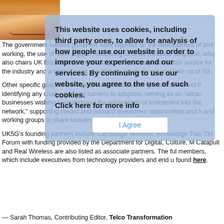[Figure (photo): Photo of a person (woman) with blonde/golden hair, smiling, partially visible in top-left corner]
This website uses cookies, including third party ones, to allow for analysis of how people use our website in order to improve your experience and our services. By continuing to use our website, you agree to the use of such cookies. Click here for more info
I Agree
The government-backed group will work together on the development of and working, the use of such support, according to its ac Rosalind Singleton, who also chairs UK Broadband, a subsidiary of Thre as an information source for the industry and a central point of collabora development and take up of 5G.
Other specific goals of the consortium include sharing lessons learned fr identifying any challenges and barriers to adoption, serving as an "attrac businesses wishing to understand the advantages of investment into the network," supporting inward and outward investment opportunities and h and working groups to share knowledge.
UK5G's founding partners include Cambridge Wireless, Knowledge Tran TM Forum with funding provided by the Department for Digital, Culture, M Catapult and Real Wireless are also listed as associate partners. The ful members, which include executives from technology providers and end u found here.
— Sarah Thomas, Contributing Editor, Telco Transformation